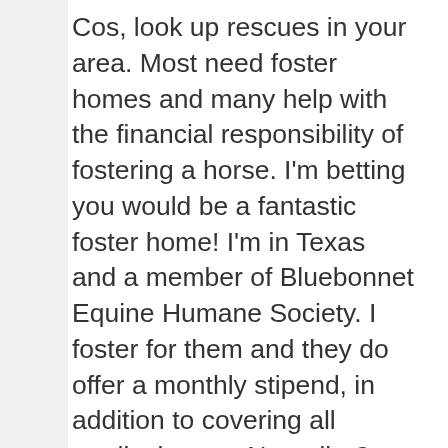Cos, look up rescues in your area. Most need foster homes and many help with the financial responsibility of fostering a horse. I'm betting you would be a fantastic foster home! I'm in Texas and a member of Bluebonnet Equine Humane Society. I foster for them and they do offer a monthly stipend, in addition to covering all medical costs. No trailer? They will get the horse to you.
I cannot explain the joyous feeling of being part of a horse's journey to a better life. It just doesn't get any better than watching a horse learn to relax and enjoy life as a horse should. Seeing them find their forever home is the icing on the cake.